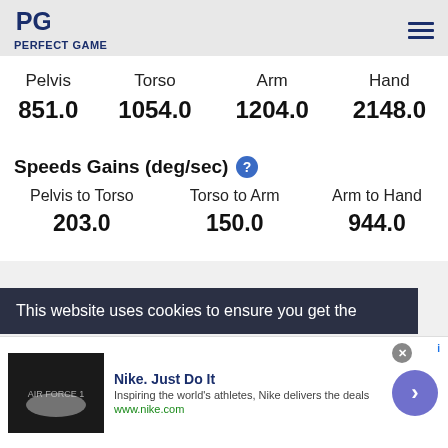PERFECT GAME
| Pelvis | Torso | Arm | Hand |
| --- | --- | --- | --- |
| 851.0 | 1054.0 | 1204.0 | 2148.0 |
Speeds Gains (deg/sec)
| Pelvis to Torso | Torso to Arm | Arm to Hand |
| --- | --- | --- |
| 203.0 | 150.0 | 944.0 |
This website uses cookies to ensure you get the
Nike. Just Do It
Inspiring the world's athletes, Nike delivers the deals
www.nike.com